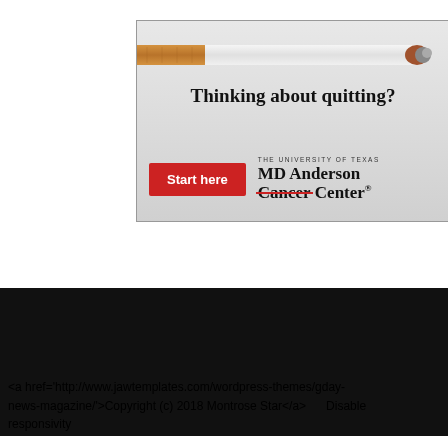[Figure (advertisement): MD Anderson Cancer Center advertisement for smoking cessation. Shows a cigarette image at top, headline 'Thinking about quitting?', a red 'Start here' button, and the MD Anderson Cancer Center logo with 'Cancer' crossed out in red.]
<a href='http://www.jawtemplates.com/wordpress-themes/gday-news-magazine/'>Copyright (c) 2018 Montrose Star</a>      Disable responsivity